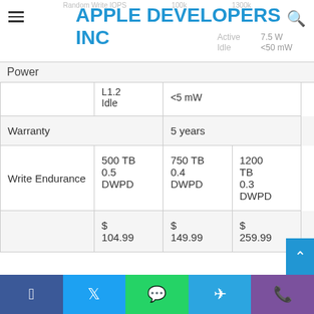APPLE DEVELOPERS INC
|  |  |  |
| --- | --- | --- |
| Power | L1.2 Idle | <5 mW |
| Warranty |  | 5 years |
| Write Endurance | 500 TB 0.5 DWPD | 750 TB 0.4 DWPD | 1200 TB 0.3 DWPD |
|  | $ 104.99 | $ 149.99 | $ 259.99 |
Facebook | Twitter | WhatsApp | Telegram | Viber